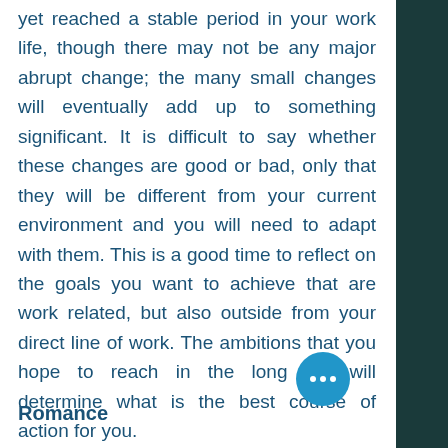yet reached a stable period in your work life, though there may not be any major abrupt change; the many small changes will eventually add up to something significant. It is difficult to say whether these changes are good or bad, only that they will be different from your current environment and you will need to adapt with them. This is a good time to reflect on the goals you want to achieve that are work related, but also outside from your direct line of work. The ambitions that you hope to reach in the long run will determine what is the best course of action for you.
Romance